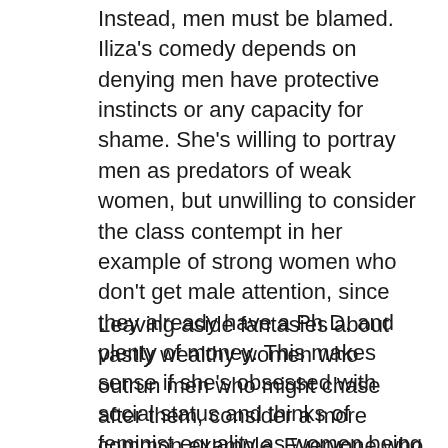Instead, men must be blamed. Iliza's comedy depends on denying men have protective instincts or any capacity for shame. She's willing to portray men as predators of weak women, but unwilling to consider the class contempt in her example of strong women who don't get male attention, since they already have a Ph.D. and plenty of money. This makes sense if she's obsessed with social status and thinks of feminist equality as women being as wealthy as a very small percentage of men. But it doesn't make sense if we pay attention to the overwhelming majority of American men, who have no connection to that world of luxury.
Leaving aside fantasies about vastly wealthy women who outrun men who might chase after them, consider a more common example. Everyone who knows beautiful women knows that at least some aren't often asked on dates, because young